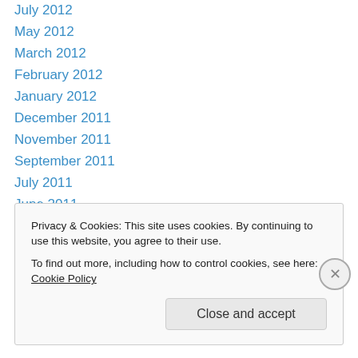July 2012
May 2012
March 2012
February 2012
January 2012
December 2011
November 2011
September 2011
July 2011
June 2011
May 2011
April 2011
March 2011
Privacy & Cookies: This site uses cookies. By continuing to use this website, you agree to their use.
To find out more, including how to control cookies, see here: Cookie Policy
Close and accept